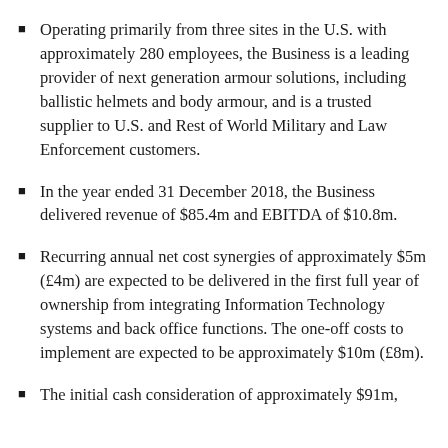Operating primarily from three sites in the U.S. with approximately 280 employees, the Business is a leading provider of next generation armour solutions, including ballistic helmets and body armour, and is a trusted supplier to U.S. and Rest of World Military and Law Enforcement customers.
In the year ended 31 December 2018, the Business delivered revenue of $85.4m and EBITDA of $10.8m.
Recurring annual net cost synergies of approximately $5m (£4m) are expected to be delivered in the first full year of ownership from integrating Information Technology systems and back office functions. The one-off costs to implement are expected to be approximately $10m (£8m).
The initial cash consideration of approximately $91m,